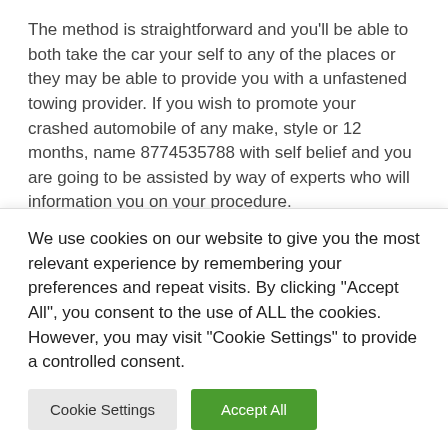The method is straightforward and you'll be able to both take the car your self to any of the places or they may be able to provide you with a unfastened towing provider. If you wish to promote your crashed automobile of any make, style or 12 months, name 8774535788 with self belief and you are going to be assisted by way of experts who will information you on your procedure.
9. Sellthecarusa
It's some other of the good choices to promote your
We use cookies on our website to give you the most relevant experience by remembering your preferences and repeat visits. By clicking "Accept All", you consent to the use of ALL the cookies. However, you may visit "Cookie Settings" to provide a controlled consent.